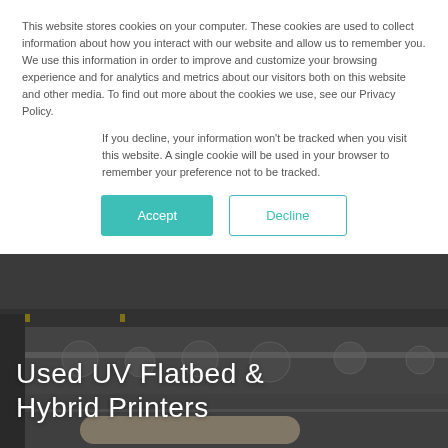This website stores cookies on your computer. These cookies are used to collect information about how you interact with our website and allow us to remember you. We use this information in order to improve and customize your browsing experience and for analytics and metrics about our visitors both on this website and other media. To find out more about the cookies we use, see our Privacy Policy.
If you decline, your information won't be tracked when you visit this website. A single cookie will be used in your browser to remember your preference not to be tracked.
[Figure (other): Two buttons: a teal/green 'Accept' button and a white 'Decline' button with teal border]
[Figure (photo): Hero image of UV flatbed and hybrid printing machinery with large white text overlay reading 'Used UV Flatbed & Hybrid Printers']
Used UV Flatbed & Hybrid Printers